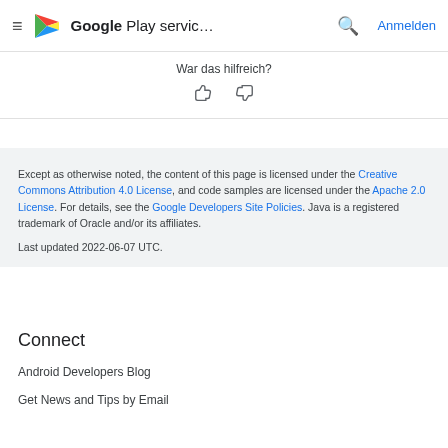Google Play servic... Anmelden
War das hilfreich?
Except as otherwise noted, the content of this page is licensed under the Creative Commons Attribution 4.0 License, and code samples are licensed under the Apache 2.0 License. For details, see the Google Developers Site Policies. Java is a registered trademark of Oracle and/or its affiliates.

Last updated 2022-06-07 UTC.
Connect
Android Developers Blog
Get News and Tips by Email